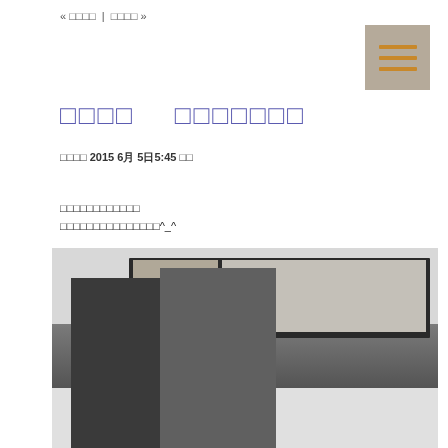« □□□□ | □□□□ »
□□□□　□□□□□□□
□□□□ 2015 6月 5日5:45 □□
□□□□□□□□□□□□
□□□□□□□□□□□□□□□^_^
[Figure (photo): Black and white photo of two workers installing or adjusting a window frame. One person on the left wears a cap and bends forward. The other person on the right stands taller. Both wear dark clothing. The window has sliding panels with dark frames against a white wall.]